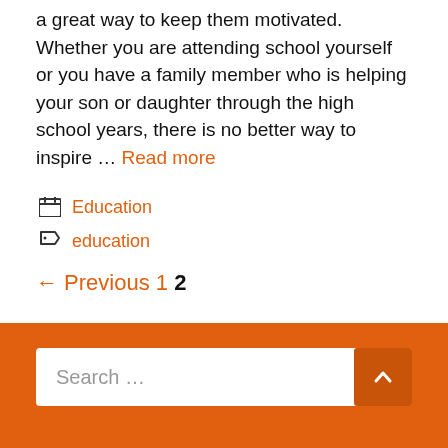a great way to keep them motivated. Whether you are attending school yourself or you have a family member who is helping your son or daughter through the high school years, there is no better way to inspire … Read more
Education
education
← Previous 1 2
Search ...